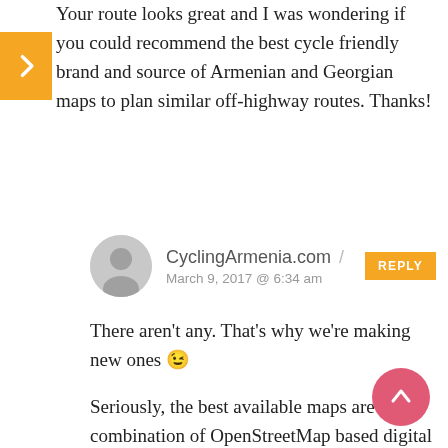Your route looks great and I was wondering if you could recommend the best cycle friendly brand and source of Armenian and Georgian maps to plan similar off-highway routes. Thanks!
CyclingArmenia.com / March 9, 2017 @ 6:34 am
There aren't any. That's why we're making new ones 😉
Seriously, the best available maps are a combination of OpenStreetMap based digital ones, old Soviet military maps (via the Android app), and Google Earth satellite. Google Maps is of limited use. And you have to be prepared for all of the above to be inaccurate, especially in remoter regions. All part of the challenge at this point in time.